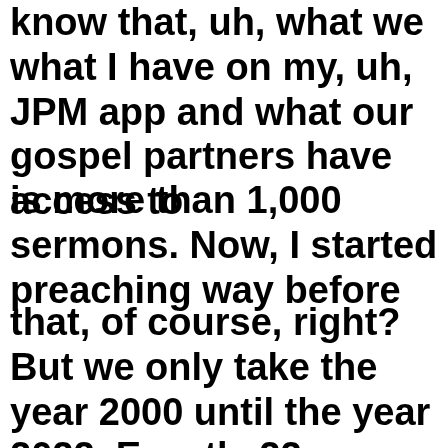know that, uh, what we what I have on my, uh, JPM app and what our gospel partners have access to
is more than 1,000 sermons. Now, I started preaching way before
that, of course, right? But we only take the year 2000 until the year 2022. Exactly 22 years, hey, think about that, 22